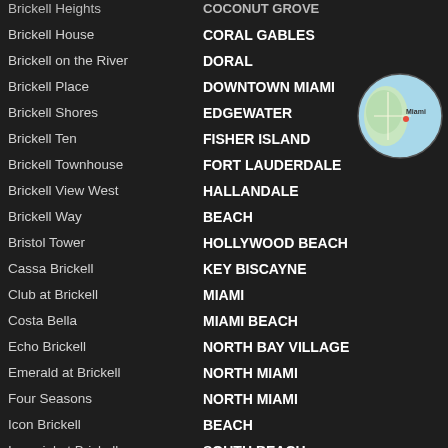Brickell House | CORAL GABLES
Brickell on the River | DORAL
Brickell Place | DOWNTOWN MIAMI
Brickell Shores | EDGEWATER
Brickell Ten | FISHER ISLAND
Brickell Townhouse | FORT LAUDERDALE
Brickell View West | HALLANDALE
Brickell Way | BEACH
Bristol Tower | HOLLYWOOD BEACH
Cassa Brickell | KEY BISCAYNE
Club at Brickell | MIAMI
Costa Bella | MIAMI BEACH
Echo Brickell | NORTH BAY VILLAGE
Emerald at Brickell | NORTH MIAMI
Four Seasons | NORTH MIAMI
Icon Brickell | BEACH
Imperial at Brickell | SOUTH BEACH
[Figure (map): Small circular map thumbnail showing Miami area]